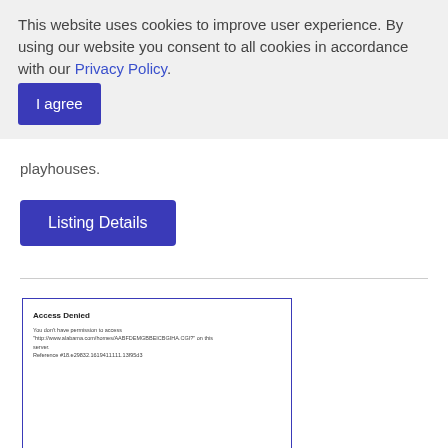This website uses cookies to improve user experience. By using our website you consent to all cookies in accordance with our Privacy Policy. I agree
playhouses.
Listing Details
[Figure (screenshot): Embedded iframe or screenshot showing an 'Access Denied' error page with a reference number and URL.]